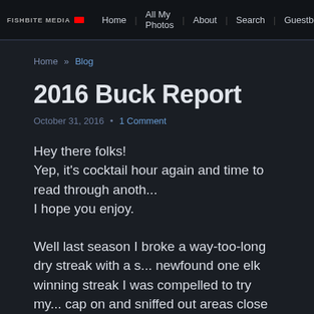FISHBITE MEDIA | Home | All My Photos | About | Search | Guestbook
Home » Blog
2016 Buck Report
October 31, 2016  •  1 Comment
Hey there folks!
Yep, it's cocktail hour again and time to read through anoth...
I hope you enjoy.
Well last season I broke a way-too-long dry streak with a s... newfound one elk winning streak I was compelled to try my... cap on and sniffed out areas close to home that looked jui... season took over and I never completed or sent it.)
It had been almost 20 years since I'd gone deer hunting w...